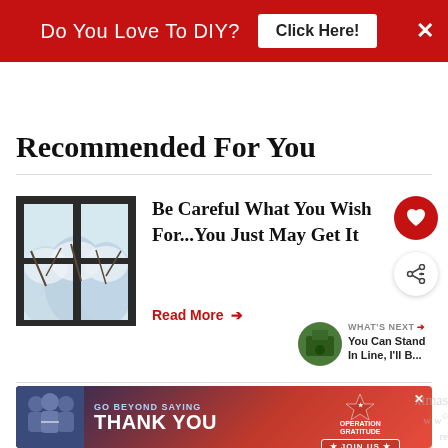[Figure (infographic): Red banner advertisement: 'Do You Love To DIY?' with 'Click Here!' button and X close icon]
Recommended For You
[Figure (photo): Snow-covered trees visible through a window with dark frames]
Be Careful What You Wish For...You Just May Get It
Read More →
[Figure (infographic): Operation Gratitude ad: GO BEYOND SAYING THANK YOU with JOIN US button]
WHAT'S NEXT → You Can Stand In Line, I'll B...